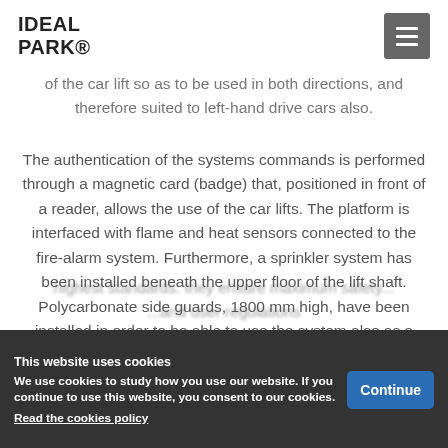IDEAL PARK®
of the car lift so as to be used in both directions, and therefore suited to left-hand drive cars also.
The authentication of the systems commands is performed through a magnetic card (badge) that, positioned in front of a reader, allows the use of the car lifts. The platform is interfaced with flame and heat sensors connected to the fire-alarm system. Furthermore, a sprinkler system has been installed beneath the upper floor of the lift shaft. Polycarbonate side guards, 1800 mm high, have been installed in order to be able to use the system also as a freight elevator. Idealpark car lifts are also in line with the
highest standards: they ensure maximum safety... and user... regulations
This website uses cookies
We use cookies to study how you use our website. If you continue to use this website, you consent to our cookies.
Read the cookies policy